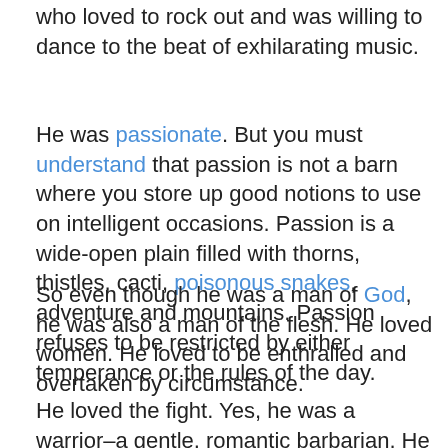who loved to rock out and was willing to dance to the beat of exhilarating music.
He was passionate. But you must understand that passion is not a barn where you store up good notions to use on intelligent occasions. Passion is a wide-open plain filled with thorns, thistles, cacti, poisonous snakes, adventure and mountains. Passion refuses to be restricted by either temperance or the rules of the day.
So even though he was a man of God, he was also a man of the flesh. He loved women. He loved to be enthralled and overtaken by circumstance.
He loved the fight. Yes, he was a warrior–a gentle, romantic barbarian. He viewed the world in black and white and saw enemies instead of potential allies. He embraced those who embraced him and fought off those